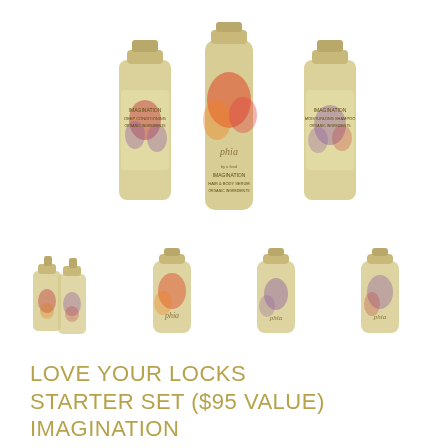[Figure (photo): Three Phia brand 'Imagination' hair care product bottles (deep conditioner, hair & body serum, moisturizing shampoo) with floral design labels arranged together, top half of page]
[Figure (photo): Four thumbnail images of Phia Imagination product set bottles shown individually as product gallery thumbnails]
LOVE YOUR LOCKS STARTER SET ($95 VALUE) IMAGINATION
$84.00
Product Description: